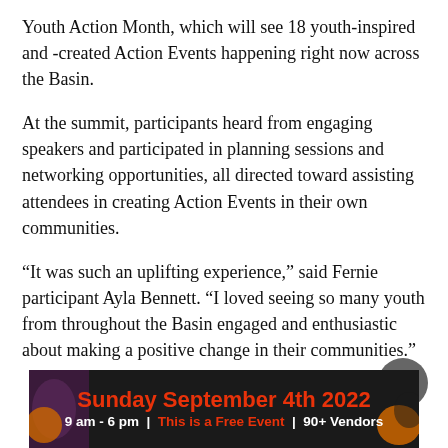Youth Action Month, which will see 18 youth-inspired and -created Action Events happening right now across the Basin.
At the summit, participants heard from engaging speakers and participated in planning sessions and networking opportunities, all directed toward assisting attendees in creating Action Events in their own communities.
“It was such an uplifting experience,” said Fernie participant Ayla Bennett. “I loved seeing so many youth from throughout the Basin engaged and enthusiastic about making a positive change in their communities.”
[Figure (other): Advertisement banner: Sunday September 4th 2022, 9 am - 6 pm | This is a Free Event | 90+ Vendors]